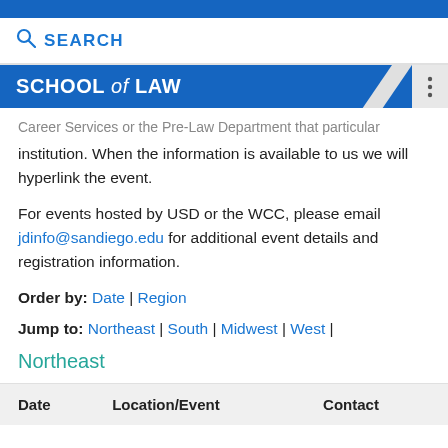SCHOOL of LAW
Career Services or the Pre-Law Department that particular institution. When the information is available to us we will hyperlink the event.
For events hosted by USD or the WCC, please email jdinfo@sandiego.edu for additional event details and registration information.
Order by: Date | Region
Jump to: Northeast | South | Midwest | West |
Northeast
| Date | Location/Event | Contact |
| --- | --- | --- |